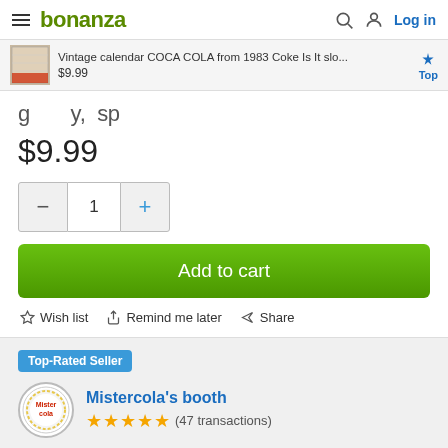bonanza — Log in
Vintage calendar COCA COLA from 1983 Coke Is It slo... $9.99
$9.99
Quantity: 1
Add to cart
Wish list   Remind me later   Share
Top-Rated Seller
Mistercola's booth
★★★★★ (47 transactions)
Contact